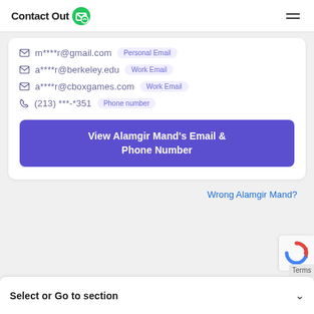Contact Out
m****r@gmail.com  Personal Email
a****r@berkeley.edu  Work Email
a****r@cboxgames.com  Work Email
(213) ***-*351  Phone number
View Alamgir Mand's Email & Phone Number
Wrong Alamgir Mand?
Select or Go to section